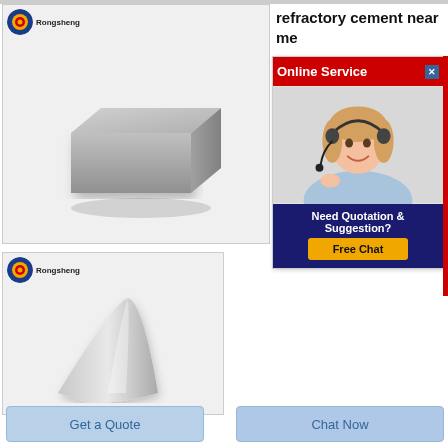[Figure (photo): Rongsheng branded insulation brick product photo - light gray rectangular brick on white/light background]
[Figure (photo): Rongsheng branded conical/pointed refractory product photo on white/light background]
refractory cement near me
Soft B
Brick
[Figure (photo): Online Service popup with red header, female agent with headset, Need Quotation & Suggestion? Free Chat button]
Get a Quote
Chat Now